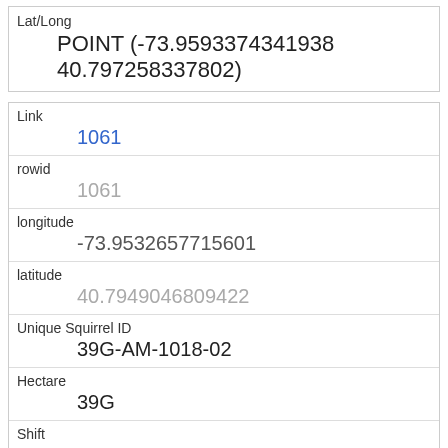| Field | Value |
| --- | --- |
| Lat/Long | POINT (-73.9593374341938 40.797258337802) |
| Link | 1061 |
| rowid | 1061 |
| longitude | -73.9532657715601 |
| latitude | 40.7949046809422 |
| Unique Squirrel ID | 39G-AM-1018-02 |
| Hectare | 39G |
| Shift | AM |
| Date | 10182018 |
| Hectare Squirrel Number | 2 |